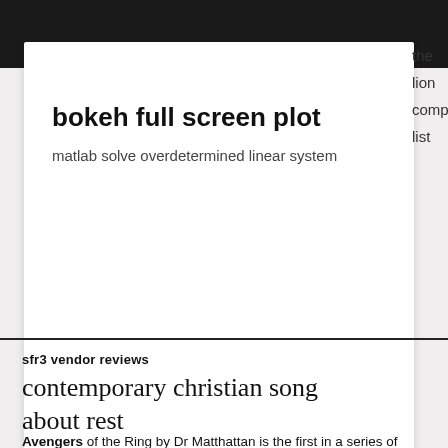bokeh full screen plot
matlab solve overdetermined linear system
the lion comp list
sfr3 vendor reviews
contemporary christian song about rest
Avengers of the Ring by Dr Matthattan is the first in a series of crossovers between the Marvel Cinematic Universe and the films of The Lord of the Rings and The Hobbit, which feature various Marvel heroes travelling to Middle-Earth.. The first and third fics feature the